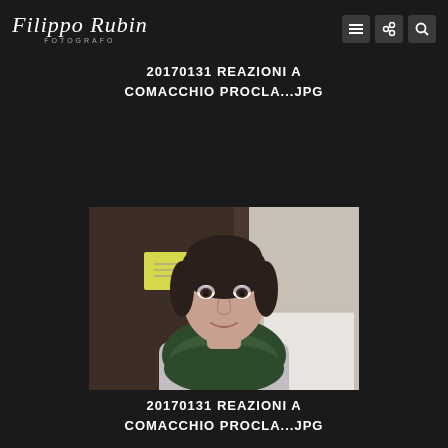Filippo Rubin FOTOGRAFO
20170131 REAZIONI A COMACCHIO PROCLA...JPG
[Figure (photo): Portrait photograph of a young woman with dark hair pulled back, wearing a dark green knit cowl/infinity scarf over a light grey top. She is looking at the camera with a slight smile. Background shows a dark wooden door/wall and a blurred light-colored surface. A yellow sticky note is visible on the door behind her.]
20170131 REAZIONI A COMACCHIO PROCLA...JPG